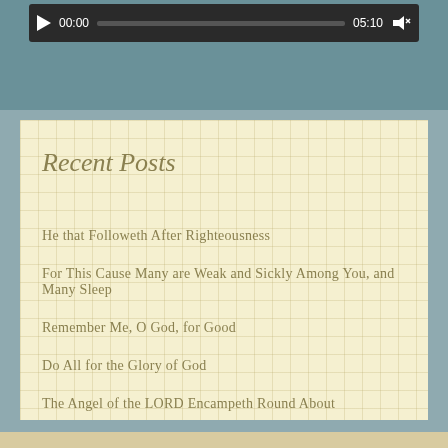[Figure (screenshot): Audio/video media player bar with play button, timestamp 00:00, progress bar, and end time 05:10]
Recent Posts
He that Followeth After Righteousness
For This Cause Many are Weak and Sickly Among You, and Many Sleep
Remember Me, O God, for Good
Do All for the Glory of God
The Angel of the LORD Encampeth Round About